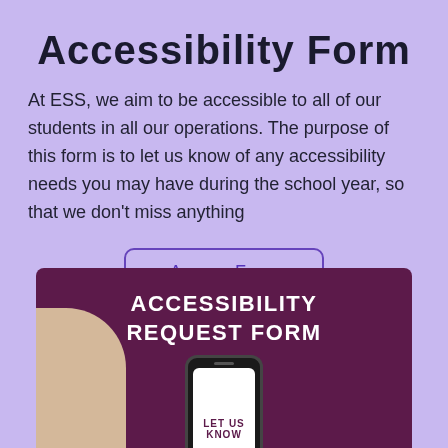Accessibility Form
At ESS, we aim to be accessible to all of our students in all our operations. The purpose of this form is to let us know of any accessibility needs you may have during the school year, so that we don't miss anything
Access Form
[Figure (illustration): Dark purple/maroon banner image showing 'ACCESSIBILITY REQUEST FORM' text in white bold letters, with a phone mockup at the bottom showing 'LET US KNOW' text, and a beige decorative shape in the lower left corner.]